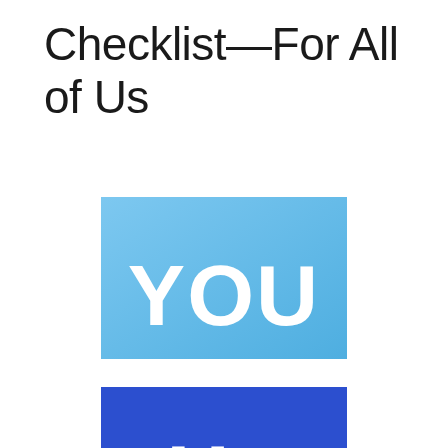Checklist—For All of Us
[Figure (illustration): Light blue rectangle with white bold text 'YOU' centered]
[Figure (illustration): Dark blue rectangle partially visible at bottom with white bold text 'Us' partially visible]